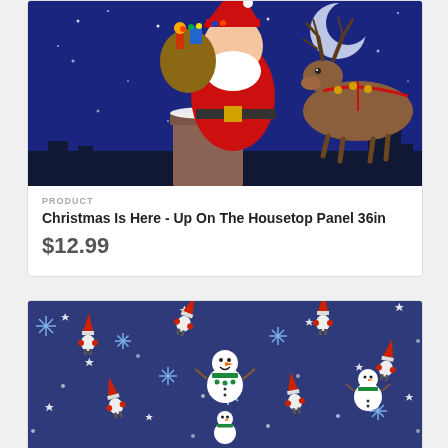[Figure (photo): Christmas scene showing Santa Claus on a rooftop chimney with a reindeer beside him, snowy night sky background, painted illustration style]
PRODUCT
Christmas Is Here - Up On The Housetop Panel 36in
$12.99
[Figure (photo): Blue fabric/textile pattern with snowmen, gnomes/elves with red hats, snowflakes, and stars on a dark navy blue background]